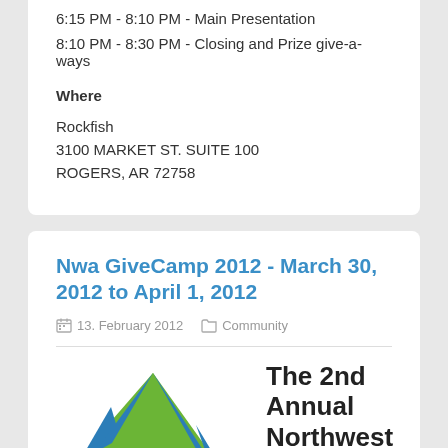6:15 PM - 8:10 PM - Main Presentation
8:10 PM - 8:30 PM - Closing and Prize give-a-ways
Where
Rockfish
3100 MARKET ST. SUITE 100
ROGERS, AR 72758
Nwa GiveCamp 2012 - March 30, 2012 to April 1, 2012
13. February 2012   Community
[Figure (logo): GiveCamp tent logo with green tent shape and blue poles, with 'givecamp' text below in blue]
The 2nd Annual Northwest Arkansas